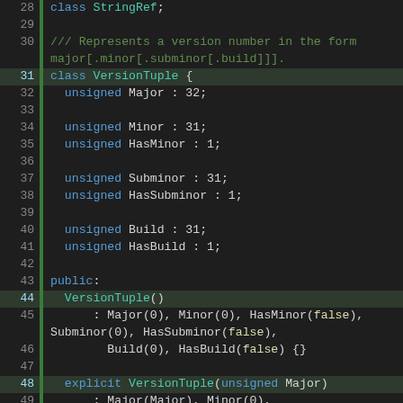[Figure (screenshot): Source code listing showing C++ class VersionTuple definition with line numbers 28-55. The code uses syntax highlighting: keywords in blue, class names in teal, comments in green, boolean literals in teal. The code defines a VersionTuple class with unsigned bit-field members and constructors.]